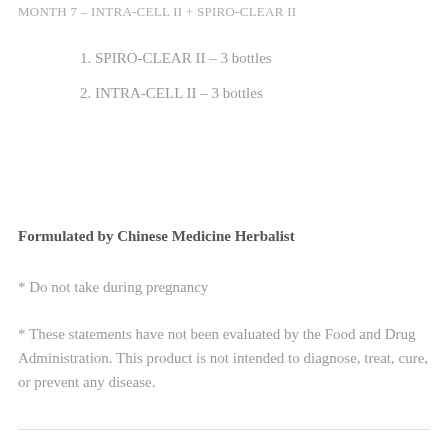MONTH 7 – INTRA-CELL II + SPIRO-CLEAR II
1. SPIRO-CLEAR II – 3 bottles
2. INTRA-CELL II – 3 bottles
Formulated by Chinese Medicine Herbalist
* Do not take during pregnancy
* These statements have not been evaluated by the Food and Drug Administration. This product is not intended to diagnose, treat, cure, or prevent any disease.